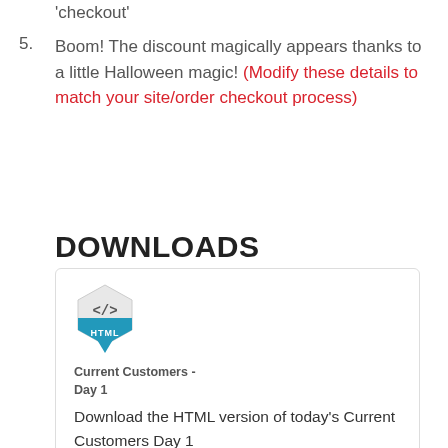'checkout'
5. Boom! The discount magically appears thanks to a little Halloween magic! (Modify these details to match your site/order checkout process)
DOWNLOADS
[Figure (logo): HTML code badge icon — hexagonal shield shape with </> symbol and 'HTML' label in teal/blue]
Current Customers - Day 1
Download the HTML version of today's Current Customers Day 1